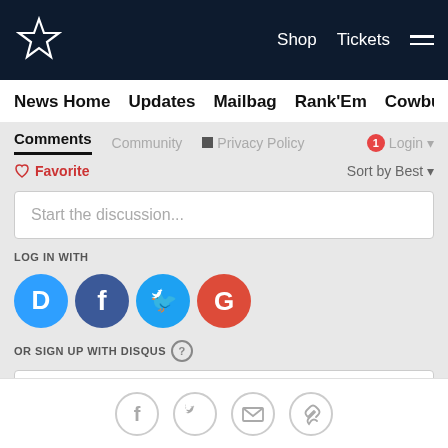Dallas Cowboys — Shop | Tickets | Menu
News Home  Updates  Mailbag  Rank'Em  Cowbuzz  Past/Pres
Comments  Community  Privacy Policy  Login
Favorite  Sort by Best
Start the discussion...
LOG IN WITH
[Figure (logo): Social login icons: Disqus (D), Facebook (F), Twitter (bird), Google (G)]
OR SIGN UP WITH DISQUS ?
Name
Share icons: Facebook, Twitter, Email, Link